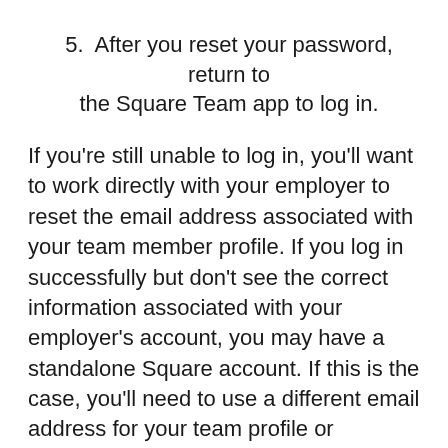5. After you reset your password, return to the Square Team app to log in.
If you're still unable to log in, you'll want to work directly with your employer to reset the email address associated with your team member profile. If you log in successfully but don't see the correct information associated with your employer's account, you may have a standalone Square account. If this is the case, you'll need to use a different email address for your team profile or deactivate your standalone account.
Team App Invitation Issues
If you already have credentials for a Square